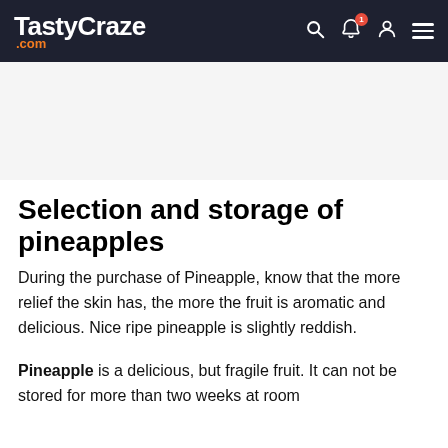TastyCraze.com
[Figure (other): Advertisement placeholder banner]
Selection and storage of pineapples
During the purchase of Pineapple, know that the more relief the skin has, the more the fruit is aromatic and delicious. Nice ripe pineapple is slightly reddish.
Pineapple is a delicious, but fragile fruit. It can not be stored for more than two weeks at room